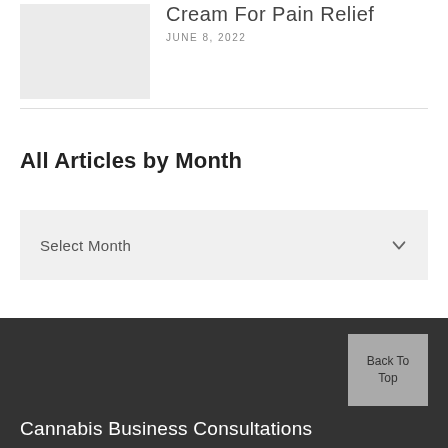[Figure (photo): Gray placeholder image for article thumbnail]
Cream For Pain Relief
JUNE 8, 2022
All Articles by Month
Select Month
Cannabis Business Consultations
Back To Top